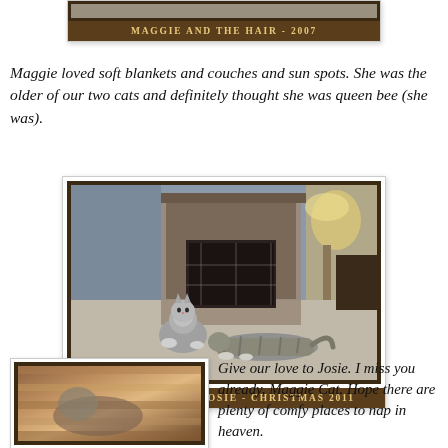[Figure (photo): Partial top of a photo card showing 'Maggie and the Hair - 2007' caption on dark brown background]
MAGGIE AND THE HAIR - 2007
Maggie loved soft blankets and couches and sun spots. She was the older of our two cats and definitely thought she was queen bee (she was).
[Figure (photo): Two cats lying on a carpet in front of a stone fireplace, Christmas 2011]
MAGGIE (R) AND JOSIE - CHRISTMAS 2011
[Figure (photo): Close-up photo of a cat on a striped blanket, partially visible at bottom left]
Give our love to Josie. I miss you already, Maggie Cat. Hope there are plenty of comfy places to nap in heaven.